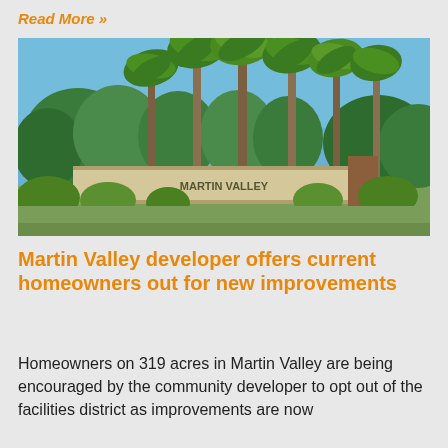Read More »
[Figure (photo): Exterior view of Martin Valley community entrance sign with palm trees and green lawn under a clear blue sky]
Martin Valley developer offers current homeowners out for new improvements
Homeowners on 319 acres in Martin Valley are being encouraged by the community developer to opt out of the facilities district as improvements are now